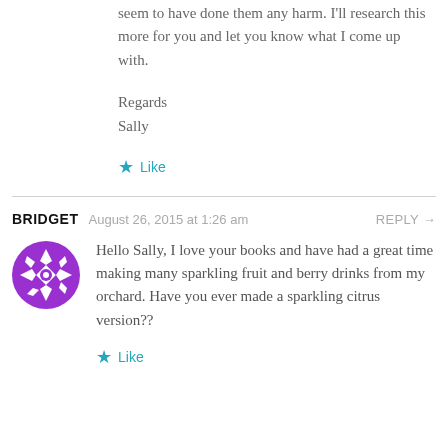seem to have done them any harm. I'll research this more for you and let you know what I come up with.
Regards
Sally
Like
BRIDGET   August 26, 2015 at 1:26 am   REPLY →
[Figure (illustration): Purple and white geometric snowflake-patterned circular avatar icon]
Hello Sally, I love your books and have had a great time making many sparkling fruit and berry drinks from my orchard. Have you ever made a sparkling citrus version??
Like